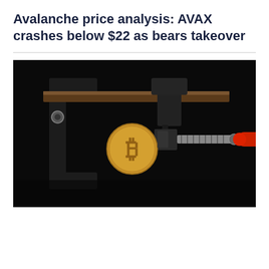Avalanche price analysis: AVAX crashes below $22 as bears takeover
[Figure (photo): A Bitcoin coin being squeezed in a metal clamp with a red handle, against a dark/black background, symbolizing price pressure.]